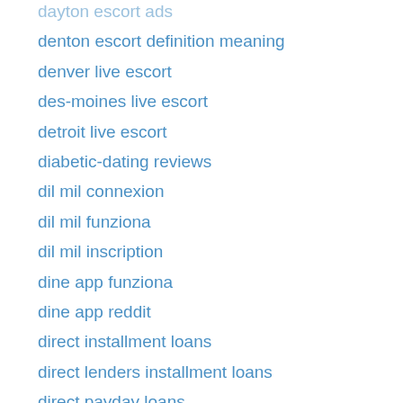dayton escort ads
denton escort definition meaning
denver live escort
des-moines live escort
detroit live escort
diabetic-dating reviews
dil mil connexion
dil mil funziona
dil mil inscription
dine app funziona
dine app reddit
direct installment loans
direct lenders installment loans
direct payday loans
Disabled Dating best sites